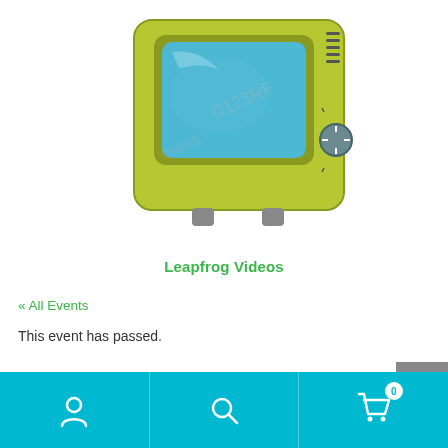[Figure (illustration): Cartoon retro green TV set with blue screen and a dial knob, watermarked stock image]
Leapfrog Videos
« All Events
This event has passed.
Track Practice: Traditional Speedwork.
[Figure (screenshot): Bottom navigation bar with user icon, search icon, and shopping cart icon with badge showing 0]